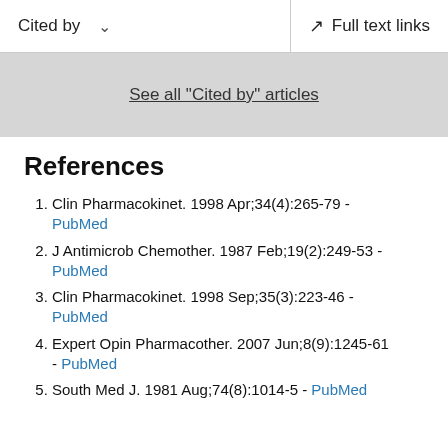Cited by   Full text links
See all "Cited by" articles
References
Clin Pharmacokinet. 1998 Apr;34(4):265-79 - PubMed
J Antimicrob Chemother. 1987 Feb;19(2):249-53 - PubMed
Clin Pharmacokinet. 1998 Sep;35(3):223-46 - PubMed
Expert Opin Pharmacother. 2007 Jun;8(9):1245-61 - PubMed
South Med J. 1981 Aug;74(8):1014-5 - PubMed